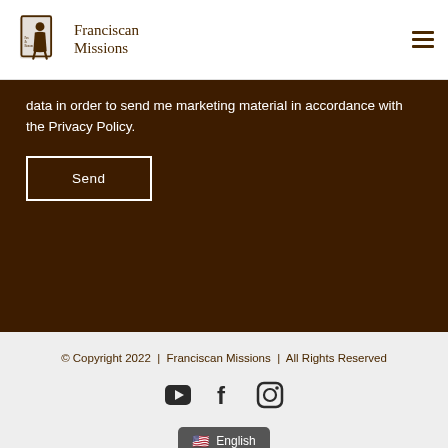[Figure (logo): Franciscan Missions logo with a kneeling friar figure and text 'Franciscan Missions']
data in order to send me marketing material in accordance with the Privacy Policy.
Send
© Copyright 2022  |  Franciscan Missions  |  All Rights Reserved
[Figure (other): Social media icons: YouTube, Facebook, Instagram]
English